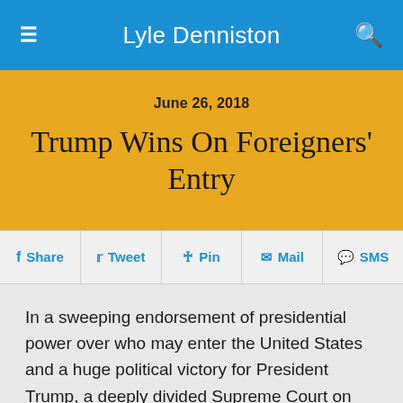Lyle Denniston
Trump Wins On Foreigners' Entry
June 26, 2018
In a sweeping endorsement of presidential power over who may enter the United States and a huge political victory for President Trump, a deeply divided Supreme Court on Tuesday upheld his order barring most foreign travelers from five Mideast nations with mostly Muslim populations.